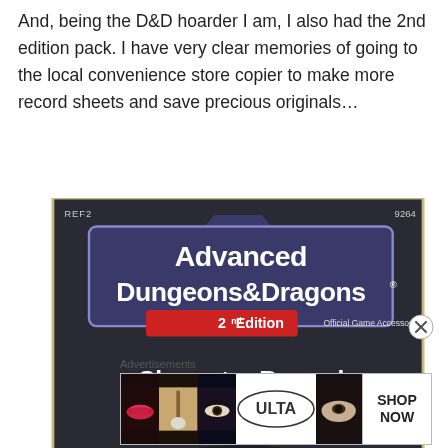And, being the D&D hoarder I am, I also had the 2nd edition pack. I have very clear memories of going to the local convenience store copier to make more record sheets and save precious originals…
[Figure (photo): Photo of the Advanced Dungeons & Dragons 2nd Edition Character Record Sheets box cover. Dark background with large white outlined banner logo reading 'Advanced Dungeons & Dragons', red '2nd Edition' sub-logo, 'Official Game Accessory' text, and bold white text 'Character Record Sheets'. Top left shows 'REF2' and top right shows '9264'.]
Advertisements
[Figure (photo): Ulta Beauty advertisement banner showing cosmetics/makeup imagery with lips, brushes, eye makeup photos and the Ulta logo, with a 'SHOP NOW' call to action.]